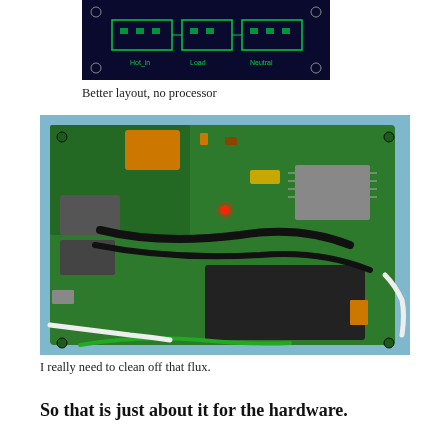[Figure (schematic): PCB layout schematic showing Hot_in, Load, and Neutral labels on a dark blue background with green circuit traces]
Better layout, no processor
[Figure (photo): Photograph of a green PCB circuit board with various components including chips, relays, capacitors, wires, and a glowing red LED, on a blue surface]
I really need to clean off that flux.
So that is just about it for the hardware.